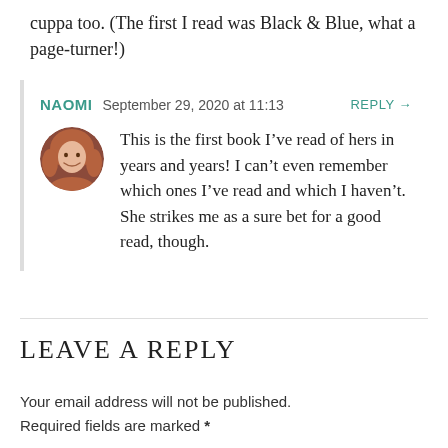cuppa too. (The first I read was Black & Blue, what a page-turner!)
NAOMI   September 29, 2020 at 11:13   REPLY →
[Figure (photo): Circular avatar photo of a woman with long reddish-brown hair and a smile]
This is the first book I've read of hers in years and years! I can't even remember which ones I've read and which I haven't. She strikes me as a sure bet for a good read, though.
LEAVE A REPLY
Your email address will not be published. Required fields are marked *